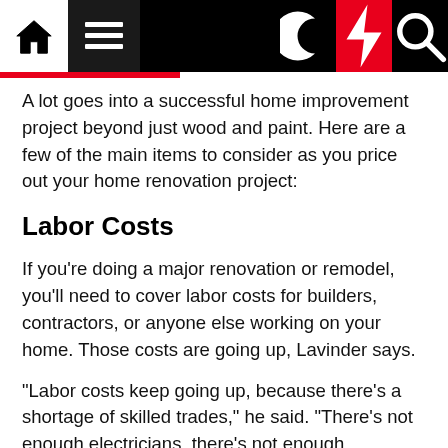Navigation bar with home, hamburger menu, moon, lightning, and search icons
A lot goes into a successful home improvement project beyond just wood and paint. Here are a few of the main items to consider as you price out your home renovation project:
Labor Costs
If you're doing a major renovation or remodel, you'll need to cover labor costs for builders, contractors, or anyone else working on your home. Those costs are going up, Lavinder says.
“Labor costs keep going up, because there’s a shortage of skilled trades,” he said. “There’s not enough electricians, there’s not enough plumbers, there’s not enough of anything. And so because of that, labor has gotten more expensive.”